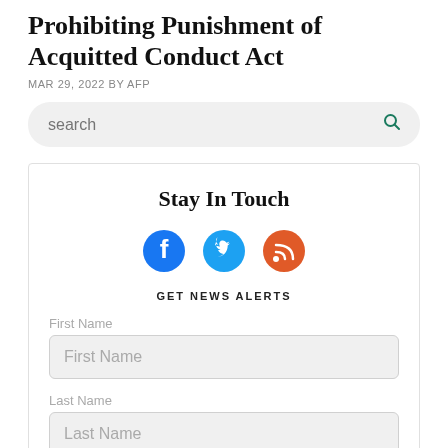Prohibiting Punishment of Acquitted Conduct Act
MAR 29, 2022 BY AFP
search
Stay In Touch
GET NEWS ALERTS
First Name
Last Name